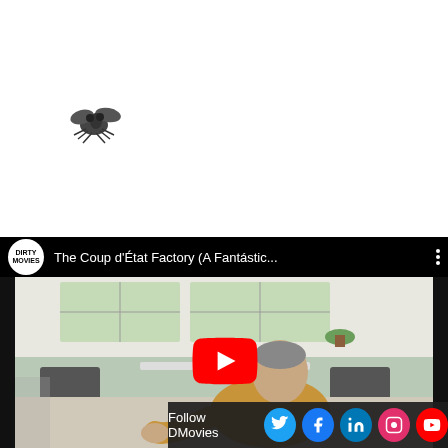[Figure (photo): Small dark fly/insect silhouette on white background]
[Figure (screenshot): YouTube embedded video player showing 'The Coup d'État Factory (A Fantástic...' with channel logo for Dirty Movies, a man in a yellow shirt gesturing, and a red YouTube play button overlay]
Follow DMovies